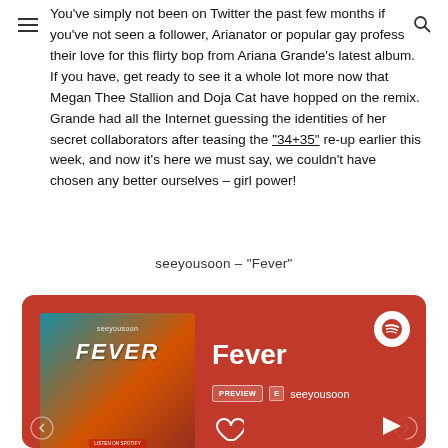You've simply not been on Twitter the past few months if you've not seen a follower, Arianator or popular gay profess their love for this flirty bop from Ariana Grande's latest album. If you have, get ready to see it a whole lot more now that Megan Thee Stallion and Doja Cat have hopped on the remix. Grande had all the Internet guessing the identities of her secret collaborators after teasing the "34+35" re-up earlier this week, and now it's here we must say, we couldn't have chosen any better ourselves – girl power!
seeyousoon – "Fever"
[Figure (screenshot): Spotify embed card showing the song 'Fever' by seeyousoon, with album art on a red background, PREVIEW and E (explicit) badges, a heart icon, and Spotify logo.]